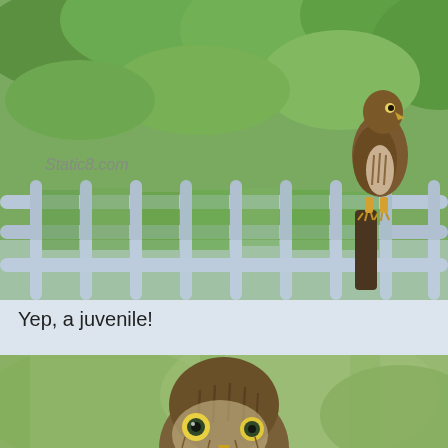[Figure (photo): A juvenile hawk or raptor perched on a light blue/grey metal railing fence with green trees/foliage in the background. The bird is brown with streaked plumage, yellow talons, standing upright. Watermark text 'Static8.com' visible in lower-left area of image.]
Yep, a juvenile!
[Figure (photo): Close-up photo of a juvenile bird of prey (hawk/raptor) with yellow eyes, streaked brown and white plumage, partially visible against a blurred green background. Only the head and upper body are visible, cropped at bottom of page.]